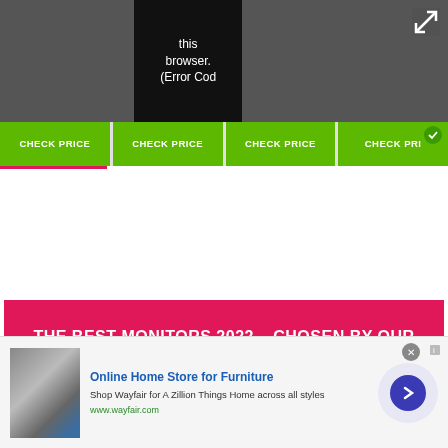[Figure (screenshot): Dark grey top bar with black error overlay box showing text 'this browser. (Error Cod' and expand icon in top right corner]
CHECK PRICE  CHECK PRICE  CHECK PRICE  CHECK PRI
THE BEST MONITORS 2022 - CHOSEN BY OUR EXPERTS
[Figure (photo): BenQ monitor showing colorful display, partially visible]
[Figure (infographic): Advertisement banner: Online Home Store for Furniture - Shop Wayfair for A Zillion Things Home across all styles - www.wayfair.com - with furniture image and blue arrow circle button]